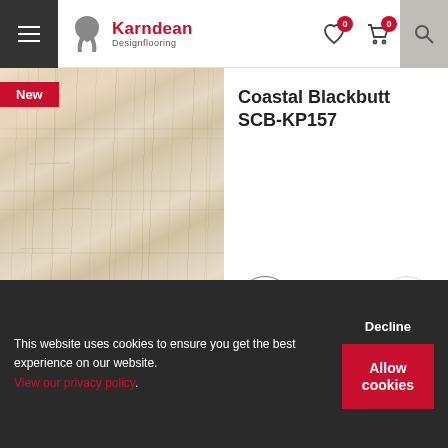Karndean Designflooring
[Figure (photo): Coastal Blackbutt wood flooring texture, light beige/tan wood grain with subtle knots and grain lines]
Coastal Blackbutt SCB-KP157
[Figure (photo): Natural Maple wood flooring texture, medium tan/warm brown wood grain]
Natural Maple SCB-
This website uses cookies to ensure you get the best experience on our website. View our privacy policy.
Decline
Allow cookies